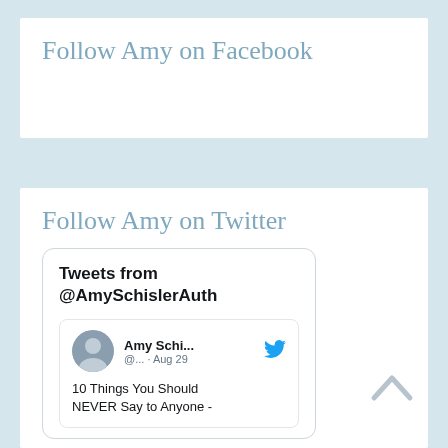Follow Amy on Facebook
Follow Amy on Twitter
[Figure (screenshot): Twitter widget showing tweets from @AmySchislerAuth. Includes a tweet card with Amy Schi... avatar, handle @..., date Aug 29, and text '10 Things You Should NEVER Say to Anyone -']
Back to top arrow